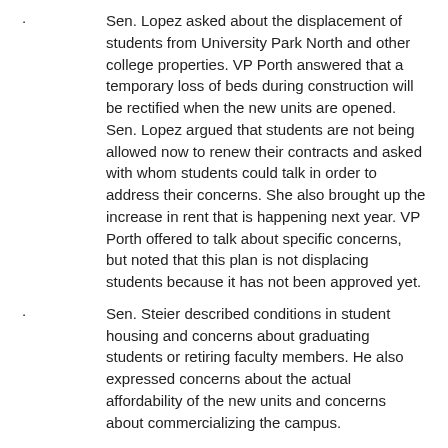Sen. Lopez asked about the displacement of students from University Park North and other college properties. VP Porth answered that a temporary loss of beds during construction will be rectified when the new units are opened. Sen. Lopez argued that students are not being allowed now to renew their contracts and asked with whom students could talk in order to address their concerns. She also brought up the increase in rent that is happening next year. VP Porth offered to talk about specific concerns, but noted that this plan is not displacing students because it has not been approved yet.
Sen. Steier described conditions in student housing and concerns about graduating students or retiring faculty members. He also expressed concerns about the actual affordability of the new units and concerns about commercializing the campus.
Sen. Yee-Melichar asked about the process by which faculty will be involved in planning academic spaces.
7.      Jennifer Summit, Interim Provost and Vice President of Academic Affairs – Update on Tenure Density and Tenure Track Hiring and Retention
Provost Summit gave a presentation about faculty hiring, tenure density, and equity. Tenure density is currently 45%